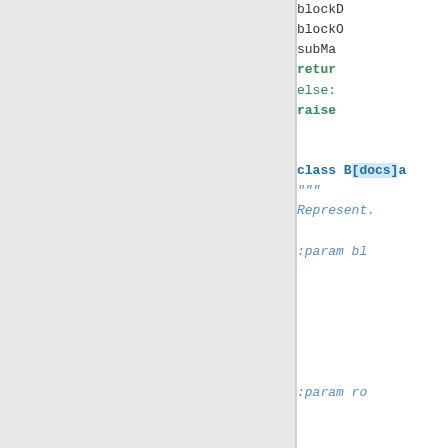[Figure (screenshot): Code editor screenshot showing Python code: blockDocs, blockOm, subMat, return, else: raise, class Bdocs, docstring with Represents, :param bl, :param ro, :param co, :param nu, :param nu]